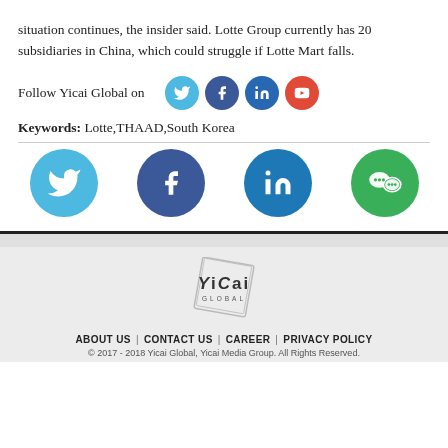situation continues, the insider said. Lotte Group currently has 20 subsidiaries in China, which could struggle if Lotte Mart falls.
Follow Yicai Global on [Twitter] [Facebook] [LinkedIn] [YouTube]
Keywords:  Lotte,THAAD,South Korea
[Figure (infographic): Four large social media circles: Twitter (light blue), Facebook (dark blue), LinkedIn (blue), WeChat (green)]
[Figure (logo): Yicai Global logo — stylized diamond/square with YiCai GLOBAL text]
ABOUT US  |  CONTACT US  |  CAREER  |  PRIVACY POLICY
© 2017 - 2018 Yicai Global, Yicai Media Group. All Rights Reserved.